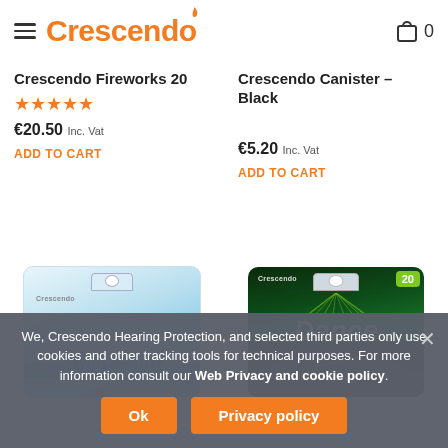Crescendo (logo) — cart: 0
Crescendo Fireworks 20
★★★★★
€20.50 Inc. Vat
ADD TO CART
Crescendo Canister – Black
€5.20 Inc. Vat
ADD TO CART
[Figure (photo): Crescendo Swim & Surf ear protection product in blister packaging, light blue design]
[Figure (photo): Crescendo Dance 20 ear protection product in blister packaging, dark green with crowd silhouette and laser lights]
We, Crescendo Hearing Protection, and selected third parties only use cookies and other tracking tools for technical purposes. For more information consult our Web Privacy and cookie policy.
Ok
Privacy policy